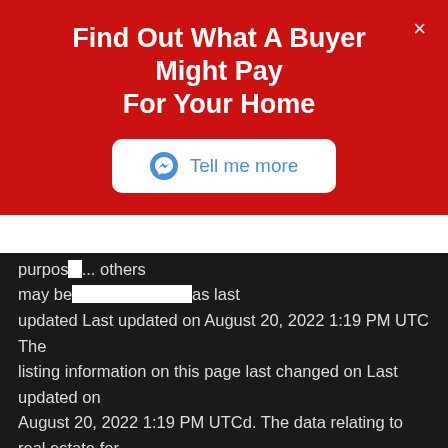Find Out What A Buyer Might Pay For Your Home
[Figure (screenshot): Messenger chat button labeled 'Tell me more' on white rounded rectangle background]
purpose... others may be... as last updated Last updated on August 20, 2022 1:19 PM UTC The listing information on this page last changed on Last updated on August 20, 2022 1:19 PM UTCd. The data relating to real estate for sale on this website comes in part from the Internet Data Exchange program of MFR MLS. All information deemed reliable but not guaranteed. All properties are subject to prior sale, change or withdrawal. Neither listing broker(s) or information provider(s) shall be responsible for any typographical errors, misinformation, misprints and shall be held totally harmless. Listing(s) information is provided for consumers personal, non-commercial use... may not be used for any purpose other than to identify